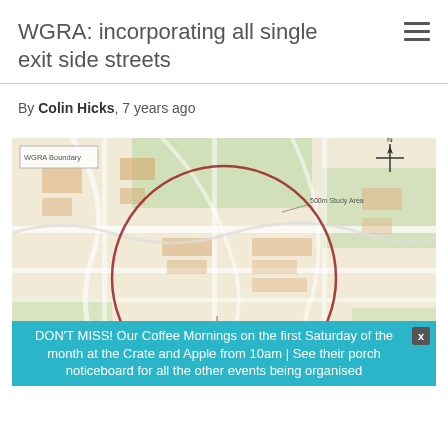WGRA: incorporating all single exit side streets
By Colin Hicks, 7 years ago
[Figure (map): A street map showing a circular boundary drawn in red/dark red around a residential area, with a small red rectangle marked near the center-bottom of the circle. A compass rose is visible in the upper right. A small legend box is in the upper left. The map uses OpenStreetMap-style rendering with green open spaces and cream/tan streets and building blocks.]
DON'T MISS! Our Coffee Mornings on the first Saturday of the month at the Crate and Apple from 10am | See their porch noticeboard for all the other events being organised